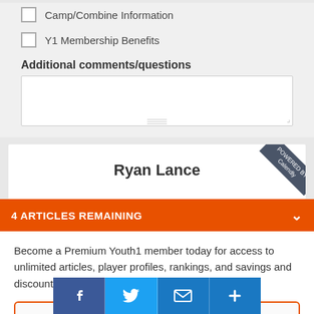Camp/Combine Information
Y1 Membership Benefits
Additional comments/questions
Ryan Lance
4 ARTICLES REMAINING
Become a Premium Youth1 member today for access to unlimited articles, player profiles, rankings, and savings and discounts on youth sports goods and services.
GO PREMIUM